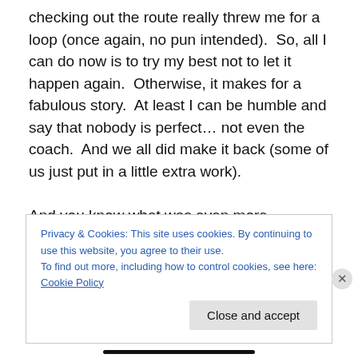checking out the route really threw me for a loop (once again, no pun intended).  So, all I can do now is to try my best not to let it happen again.  Otherwise, it makes for a fabulous story.  At least I can be humble and say that nobody is perfect… not even the coach.  And we all did make it back (some of us just put in a little extra work).

And you know what was even more humorous about the whole situation?  I was concerned about the other participants taking the wrong turn as well, so I went back to check on them and found out that one of the runners
Privacy & Cookies: This site uses cookies. By continuing to use this website, you agree to their use.
To find out more, including how to control cookies, see here: Cookie Policy